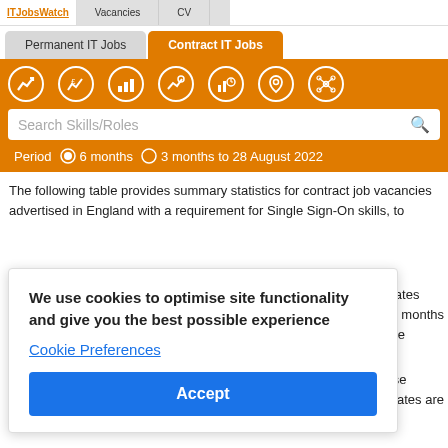ITJobsWatch | Vacancies | CV
Permanent IT Jobs | Contract IT Jobs
[Figure (screenshot): Orange toolbar with 7 icon buttons (charts, location, network), a search field 'Search Skills/Roles', and a period selector: Period (radio) 6 months / 3 months to 28 August 2022]
The following table provides summary statistics for contract job vacancies advertised in England with a requirement for Single Sign-On skills, together with a comparative overview the contract rates for the 6 months and the same time period.
We use cookies to optimise site functionality and give you the best possible experience
Cookie Preferences
Accept